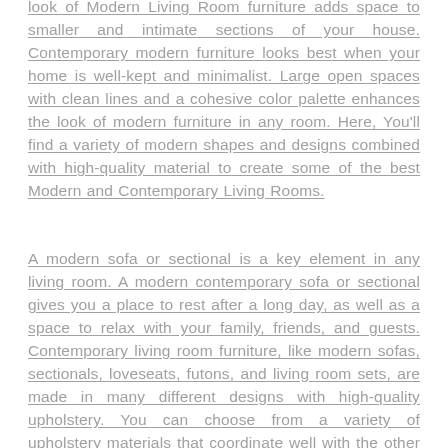look of Modern Living Room furniture adds space to smaller and intimate sections of your house. Contemporary modern furniture looks best when your home is well-kept and minimalist. Large open spaces with clean lines and a cohesive color palette enhances the look of modern furniture in any room. Here, You'll find a variety of modern shapes and designs combined with high-quality material to create some of the best Modern and Contemporary Living Rooms.
A modern sofa or sectional is a key element in any living room. A modern contemporary sofa or sectional gives you a place to rest after a long day, as well as a space to relax with your family, friends, and guests. Contemporary living room furniture, like modern sofas, sectionals, loveseats, futons, and living room sets, are made in many different designs with high-quality upholstery. You can choose from a variety of upholstery materials that coordinate well with the other items in your home. If you prefer soft fabrics, then a natural cotton or